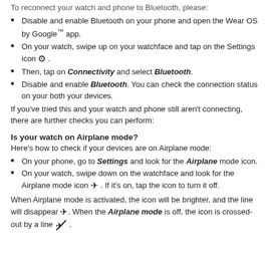To reconnect your watch and phone to Bluetooth, please:
Disable and enable Bluetooth on your phone and open the Wear OS by Google™ app.
On your watch, swipe up on your watchface and tap on the Settings icon [gear icon].
Then, tap on Connectivity and select Bluetooth.
Disable and enable Bluetooth. You can check the connection status on your both your devices.
If you've tried this and your watch and phone still aren't connecting, there are further checks you can perform:
Is your watch on Airplane mode?
Here's how to check if your devices are on Airplane mode:
On your phone, go to Settings and look for the Airplane mode icon.
On your watch, swipe down on the watchface and look for the Airplane mode icon [airplane icon]. If it's on, tap the icon to turn it off.
When Airplane mode is activated, the icon will be brighter, and the line will disappear [airplane icon]. When the Airplane mode is off, the icon is crossed-out by a line [crossed airplane icon].